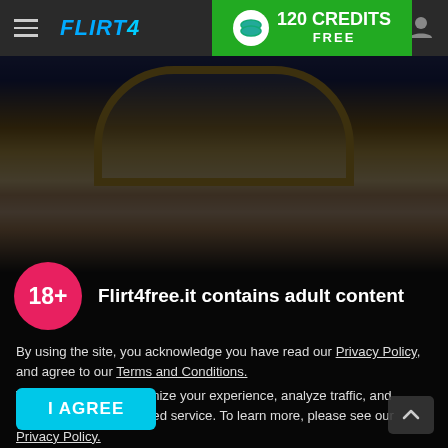FLIRT4FREE — 120 CREDITS FREE
[Figure (photo): Adult content image partially visible behind overlay — ornate gold headboard on a bed with blue floral wallpaper]
Flirt4free.it contains adult content
By using the site, you acknowledge you have read our Privacy Policy, and agree to our Terms and Conditions.
We use cookies to optimize your experience, analyze traffic, and deliver more personalized service. To learn more, please see our Privacy Policy.
I AGREE